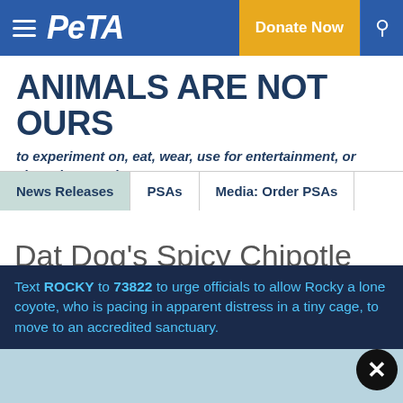PETA — Donate Now
ANIMALS ARE NOT OURS
to experiment on, eat, wear, use for entertainment, or abuse in any other way. ▶▶
News Releases | PSAs | Media: Order PSAs
Dat Dog's Spicy Chipotle Dog Wins PETA Top 10 Spot
Text ROCKY to 73822 to urge officials to allow Rocky a lone coyote, who is pacing in apparent distress in a tiny cage, to move to an accredited sanctuary.